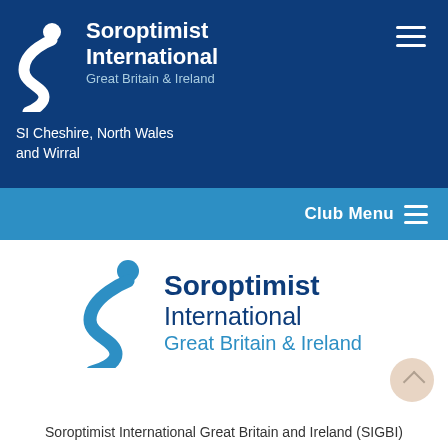[Figure (logo): Soroptimist International Great Britain & Ireland logo in white on dark blue header bar, with hamburger menu icon]
SI Cheshire, North Wales
and Wirral
Club Menu ☰
[Figure (logo): Soroptimist International Great Britain & Ireland main logo — blue S-curve figure with dark blue and cyan text on white background]
Soroptimist International Great Britain and Ireland (SIGBI)